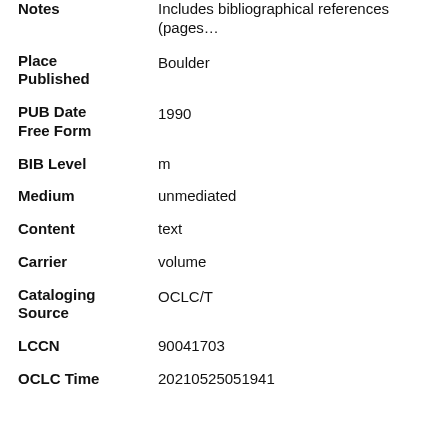Notes — Includes bibliographical references (pages…
Place Published — Boulder
PUB Date Free Form — 1990
BIB Level — m
Medium — unmediated
Content — text
Carrier — volume
Cataloging Source — OCLC/T
LCCN — 90041703
OCLC Time — 20210525051941